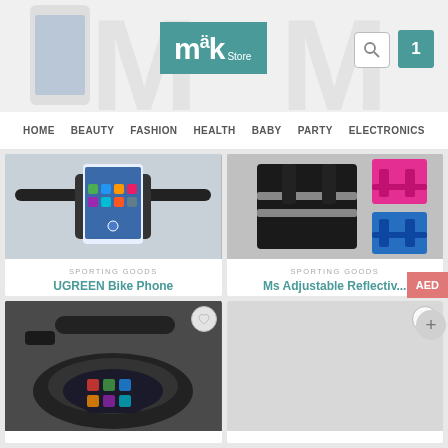[Figure (screenshot): Mäk Store website header with teal logo, search icon, and cart showing 1 item]
HOME  BEAUTY  FASHION  HEALTH  BABY  PARTY  ELECTRONICS
[Figure (photo): UGREEN Bike Phone Holder product image showing phone mounted on bicycle handlebar]
SPORTING GOODS
UGREEN Bike Phone Holder,...
AED23.20
ADD TO BASKET
[Figure (photo): Ms Adjustable Reflective Vest product image showing black reflective vest with pink and blue variants]
SPORTING GOODS
Ms Adjustable Reflectiv... Vest...
AED8.89
ADD TO BASKET
[Figure (photo): Bicycle handlebar bag with phone touchscreen window showing phone inside]
[Figure (photo): Blank product card placeholder]